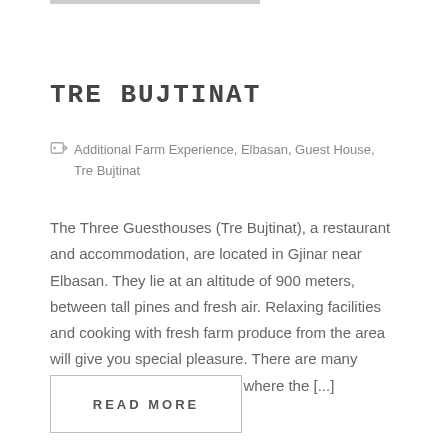TRE BUJTINAT
Additional Farm Experience, Elbasan, Guest House, Tre Bujtinat
The Three Guesthouses (Tre Bujtinat), a restaurant and accommodation, are located in Gjinar near Elbasan. They lie at an altitude of 900 meters, between tall pines and fresh air. Relaxing facilities and cooking with fresh farm produce from the area will give you special pleasure. There are many tourist attractions in the area where the [...]
READ MORE